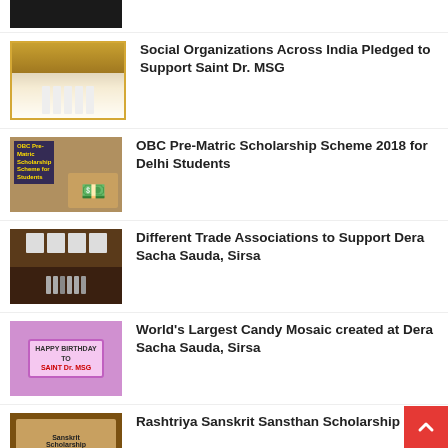[Figure (photo): Partial/cropped image at top of page, dark background]
Social Organizations Across India Pledged to Support Saint Dr. MSG
[Figure (photo): Group of people in white clothing with golden decorative element]
OBC Pre-Matric Scholarship Scheme 2018 for Delhi Students
[Figure (photo): Hand holding money with OBC scholarship text overlay]
Different Trade Associations to Support Dera Sacha Sauda, Sirsa
[Figure (photo): Group of men at a press conference with microphones]
World's Largest Candy Mosaic created at Dera Sacha Sauda, Sirsa
[Figure (photo): Happy Birthday to Saint Dr. MSG candy mosaic sign]
Rashtriya Sanskrit Sansthan Scholarship 201